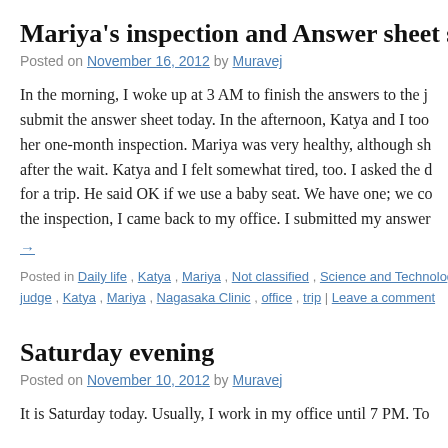Mariya’s inspection and Answer sheet su…
Posted on November 16, 2012 by Muravej
In the morning, I woke up at 3 AM to finish the answers to the j… submit the answer sheet today. In the afternoon, Katya and I too… her one-month inspection. Mariya was very healthy, although sh… after the wait. Katya and I felt somewhat tired, too. I asked the d… for a trip. He said OK if we use a baby seat. We have one; we co… the inspection, I came back to my office. I submitted my answer…
→
Posted in Daily life , Katya , Mariya , Not classified , Science and Technology | T… judge , Katya , Mariya , Nagasaka Clinic , office , trip | Leave a comment
Saturday evening
Posted on November 10, 2012 by Muravej
It is Saturday today. Usually, I work in my office until 7 PM. To…